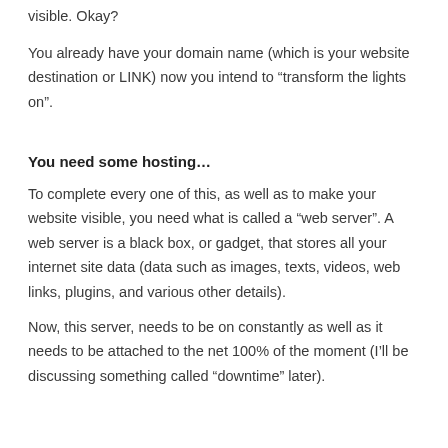visible. Okay?
You already have your domain name (which is your website destination or LINK) now you intend to “transform the lights on”.
You need some hosting…
To complete every one of this, as well as to make your website visible, you need what is called a “web server”. A web server is a black box, or gadget, that stores all your internet site data (data such as images, texts, videos, web links, plugins, and various other details).
Now, this server, needs to be on constantly as well as it needs to be attached to the net 100% of the moment (I’ll be discussing something called “downtime” later).